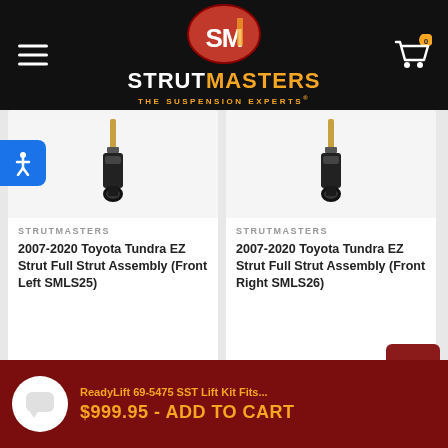STRUTMASTERS THE SUSPENSION EXPERTS
[Figure (logo): Strutmasters SM oval logo with red background and gold/white SM letters, with STRUTMASTERS THE SUSPENSION EXPERTS text below]
STRUTMASTERS
2007-2020 Toyota Tundra EZ Strut Full Strut Assembly (Front Left SMLS25)
$98.74
STRUTMASTERS
2007-2020 Toyota Tundra EZ Strut Full Strut Assembly (Front Right SMLS26)
$98.74
ReadyLift 69-5475 SST Lift Kit Fits...
$999.95 - ADD TO CART